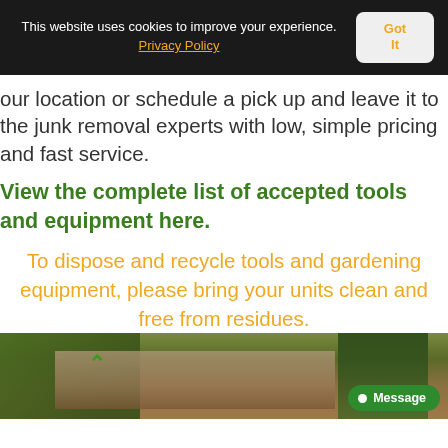This website uses cookies to improve your experience. Privacy Policy  Got It
our location or schedule a pick up and leave it to the junk removal experts with low, simple pricing and fast service.
View the complete list of accepted tools and equipment here.
To dispose and recycle tools and gardening equipment, please bring your units clean and free from residues.
[Figure (photo): Outdoor photo showing a building with a tiled roof and trees, with a green up-arrow icon and a green Message button overlay]